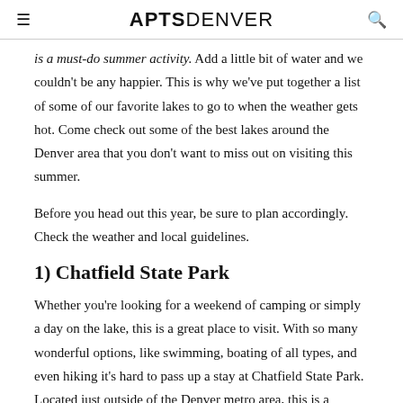APTSDENVER
is a must-do summer activity. Add a little bit of water and we couldn't be any happier. This is why we've put together a list of some of our favorite lakes to go to when the weather gets hot. Come check out some of the best lakes around the Denver area that you don't want to miss out on visiting this summer.
Before you head out this year, be sure to plan accordingly. Check the weather and local guidelines.
1) Chatfield State Park
Whether you're looking for a weekend of camping or simply a day on the lake, this is a great place to visit. With so many wonderful options, like swimming, boating of all types, and even hiking it's hard to pass up a stay at Chatfield State Park. Located just outside of the Denver metro area, this is a perfect day getaway.